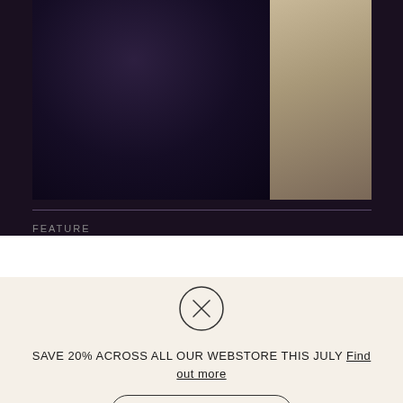[Figure (photo): Close-up photo of a person wearing dark clothing, likely a jacket, with a lighter colored garment visible on the right side. Dark, moody aesthetic with purple/dark tones.]
FEATURE
As Jackson Conti, Madlib and Mamão
[Figure (other): Close (X) button icon — a circle with an X inside, indicating a dismissible overlay or popup]
SAVE 20% ACROSS ALL OUR WEBSTORE THIS JULY Find out more
SHOP HERE